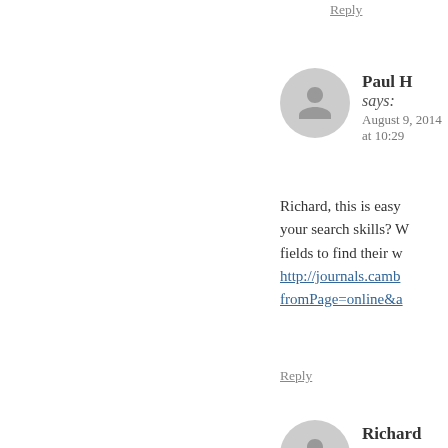Reply
Paul H says: August 9, 2014 at 10:29
Richard, this is easy your search skills? W fields to find their w http://journals.camb fromPage=online&a
Reply
Richard says: August 16, 2014 at 6:10
Shock science, Paul and you've taken th crucial question to b whether the compas off a from a li